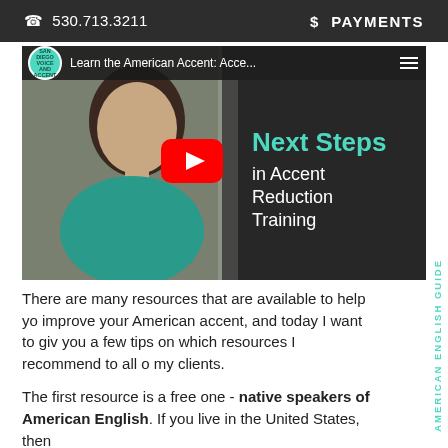530.713.3211   $ PAYMENTS
[Figure (screenshot): YouTube video thumbnail titled 'Learn the American Accent: Acce...' showing a woman in a teal shirt against a gray background, with a YouTube play button overlay and text overlay reading 'Next Steps in Accent Reduction Training'. A San Diego Voice and Accent logo bubble is visible.]
There are many resources that are available to help you improve your American accent, and today I want to give you a few tips on which resources I recommend to all of my clients.
The first resource is a free one - native speakers of American English. If you live in the United States, then